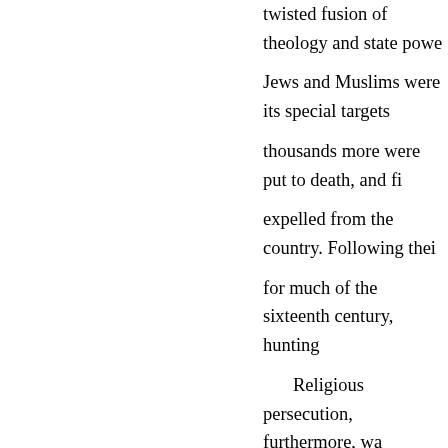twisted fusion of theology and state powe... Jews and Muslims were its special targets... thousands more were put to death, and fi... expelled from the country. Following thei... for much of the sixteenth century, hunting...

Religious persecution, furthermore, wa... life. The Salem witch trials are well know... Massachusetts' colonial-era persecution o... called, the four Quakers hanged on Bosto... crime of their religious belief.

Their executions followed the enactme... outlawing Quakerism and requiring all Qu... penalty of death to renounce their faith or... Quakers who were hanged, others were se... mutilation by the Puritans who were deter... God's law. King Charles II finally interven... stop.

And as President Obama reminded his b...